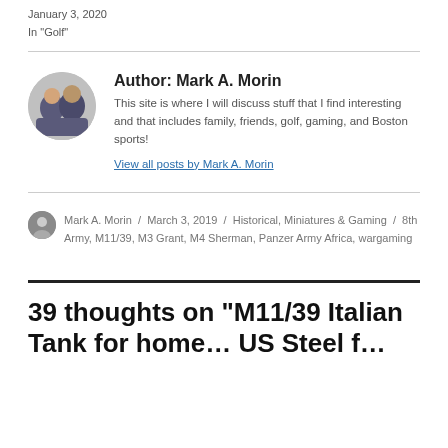January 3, 2020
In "Golf"
Author: Mark A. Morin
This site is where I will discuss stuff that I find interesting and that includes family, friends, golf, gaming, and Boston sports!
View all posts by Mark A. Morin
Mark A. Morin / March 3, 2019 / Historical, Miniatures & Gaming / 8th Army, M11/39, M3 Grant, M4 Sherman, Panzer Army Africa, wargaming
39 thoughts on “M11/39 Italian Tank for home… US Steel f…